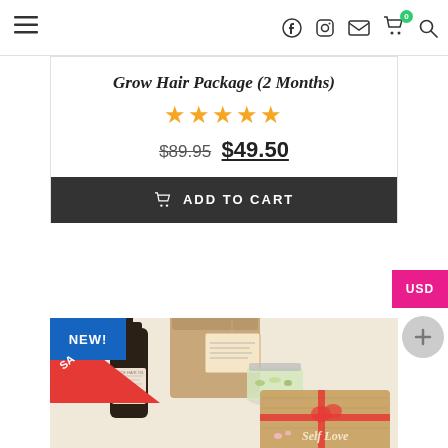Navigation bar with hamburger menu, Facebook, Instagram, email, cart (0), and search icons
Grow Hair Package (2 Months)
★★★★★
$89.95  $49.50
ADD TO CART
USD
[Figure (photo): Hair growth product package including a dark glass dropper bottle labeled 'SPICE HAIR OIL', a brown kraft paper bag with a tag, a glass jar with dried herbs, and a wooden board with red ribbon and 'Self Love' text. A 'NEW!' blue badge and 'SA...' red triangle overlay appear in the top-left corner.]